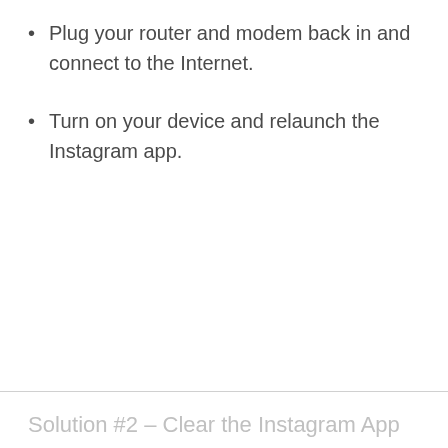Plug your router and modem back in and connect to the Internet.
Turn on your device and relaunch the Instagram app.
Solution #2 – Clear the Instagram App